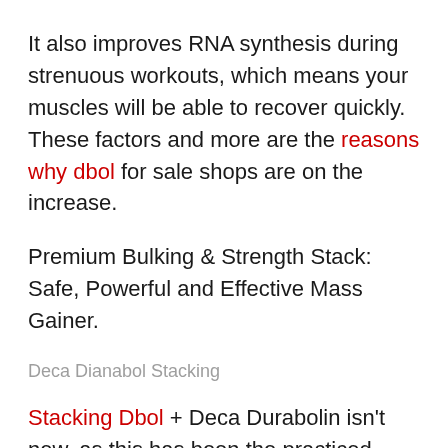It also improves RNA synthesis during strenuous workouts, which means your muscles will be able to recover quickly. These factors and more are the reasons why dbol for sale shops are on the increase.
Premium Bulking & Strength Stack: Safe, Powerful and Effective Mass Gainer.
Deca Dianabol Stacking
Stacking Dbol + Deca Durabolin isn't new, as this has been the practiced back in the 60s and 70s.